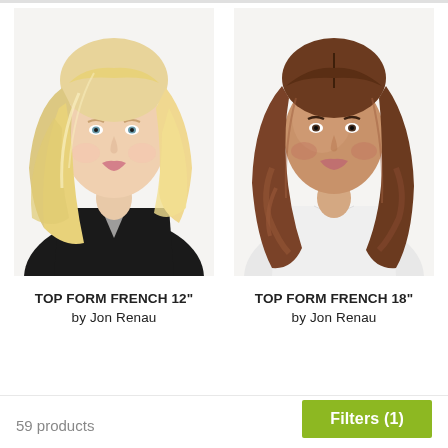[Figure (photo): Woman with blonde layered shoulder-length hair wearing a black top — Top Form French 12" wig by Jon Renau]
TOP FORM FRENCH 12"
by Jon Renau
[Figure (photo): Woman with long wavy brown hair wearing a white top — Top Form French 18" wig by Jon Renau]
TOP FORM FRENCH 18"
by Jon Renau
59 products
Filters (1)